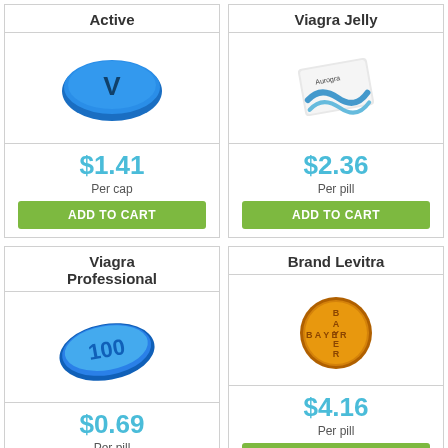Active
[Figure (illustration): Blue oval pill with letter V]
$1.41
Per cap
ADD TO CART
Viagra Jelly
[Figure (illustration): Aurogra jelly packet]
$2.36
Per pill
ADD TO CART
Viagra Professional
[Figure (illustration): Blue teardrop pill with 100]
$0.69
Per pill
ADD TO CART
Brand Levitra
[Figure (illustration): Gold/orange round pill with BAYER cross]
$4.16
Per pill
ADD TO CART